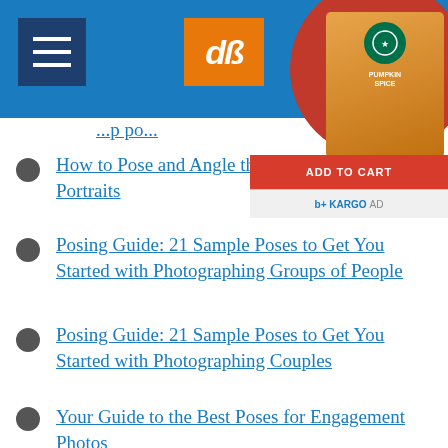dPS website header with navigation and logo
[Figure (screenshot): Starbucks Pumpkin Spice advertisement banner with ADD TO CART button and KARGO AD label]
How to Pose and Angle the Body for Better Portraits
Posing Guide: 21 Sample Poses to Get You Started with Photographing Groups of People
Posing Guide: 21 Sample Poses to Get You Started with Photographing Couples
Your Guide to the Best Poses for Engagement Photos
How to do Gentle Posing: A Collection of Prompts to Get You Started
Tips for Posing Large Families and Groups
How to Pose People for Headshots